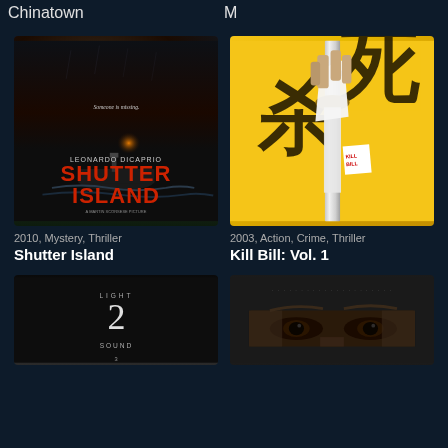Chinatown
M
[Figure (photo): Movie poster for Shutter Island (2010) featuring Leonardo DiCaprio's face in the dark with a stormy island and lighthouse in background, red title text]
2010, Mystery, Thriller
Shutter Island
[Figure (photo): Movie poster for Kill Bill: Vol. 1 (2003) with yellow background, Japanese kanji characters, and a samurai sword with Kill Bill label]
2003, Action, Crime, Thriller
Kill Bill: Vol. 1
[Figure (photo): Partial movie poster showing numbers 1, 2, 3 with LIGHT and SOUND labels on dark background]
[Figure (photo): Partial movie poster showing close-up of eyes on dark background with small text at top]